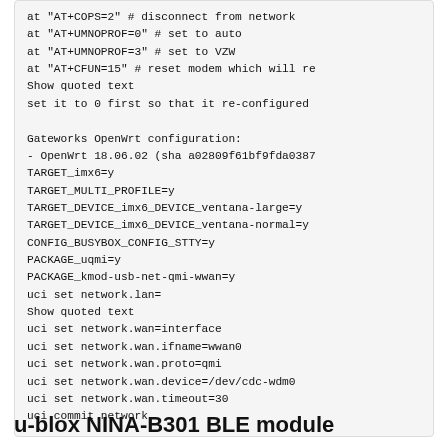at "AT+COPS=2" # disconnect from network
at "AT+UMNOPROF=0" # set to auto
at "AT+UMNOPROF=3" # set to VZW
at "AT+CFUN=15" # reset modem which will re
Show quoted text
set it to 0 first so that it re-configured

Gateworks OpenWrt configuration:
- OpenWrt 18.06.02 (sha a02809f61bf9fda0387
TARGET_imx6=y
TARGET_MULTI_PROFILE=y
TARGET_DEVICE_imx6_DEVICE_ventana-large=y
TARGET_DEVICE_imx6_DEVICE_ventana-normal=y
CONFIG_BUSYBOX_CONFIG_STTY=y
PACKAGE_uqmi=y
PACKAGE_kmod-usb-net-qmi-wwan=y
uci set network.lan=
Show quoted text
uci set network.wan=interface
uci set network.wan.ifname=wwan0
uci set network.wan.proto=qmi
uci set network.wan.device=/dev/cdc-wdm0
uci set network.wan.timeout=30
uci commit network
u-blox NINA-B301 BLE module